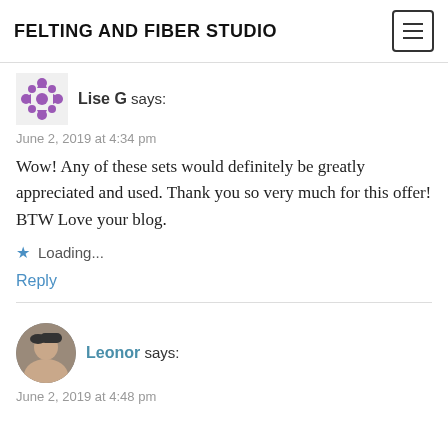FELTING AND FIBER STUDIO
Lise G says:
June 2, 2019 at 4:34 pm
Wow! Any of these sets would definitely be greatly appreciated and used. Thank you so very much for this offer! BTW Love your blog.
Loading...
Reply
Leonor says:
June 2, 2019 at 4:48 pm